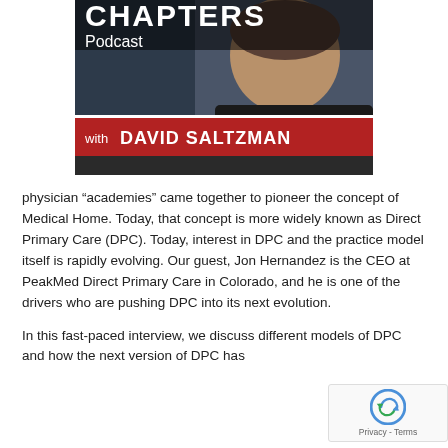[Figure (illustration): Podcast banner image showing a man with a beard wearing a dark shirt, with text 'CHAPTERS Podcast with DAVID SALTZMAN' on a red and dark background]
physician “academies” came together to pioneer the concept of Medical Home. Today, that concept is more widely known as Direct Primary Care (DPC). Today, interest in DPC and the practice model itself is rapidly evolving. Our guest, Jon Hernandez is the CEO at PeakMed Direct Primary Care in Colorado, and he is one of the drivers who are pushing DPC into its next evolution.
In this fast-paced interview, we discuss different models of DPC and how the next version of DPC has